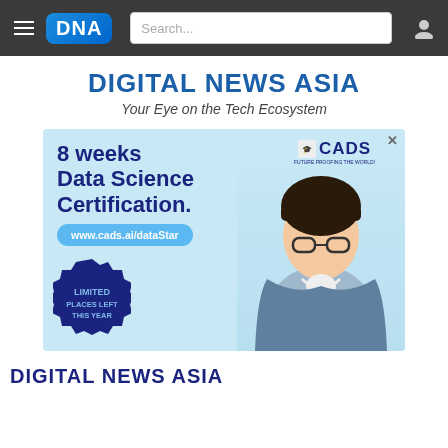DNA — Digital News Asia
DIGITAL NEWS ASIA
Your Eye on the Tech Ecosystem
[Figure (illustration): CADS advertisement banner: '8 weeks Data Science Certification.' with www.cads.ai/dataStar URL button, CADS logo top right, 'LIMITED PLACES LEFT THIS YEAR' badge bottom left, and a young man with glasses holding a tablet on the right side. Light blue background.]
DIGITAL NEWS ASIA